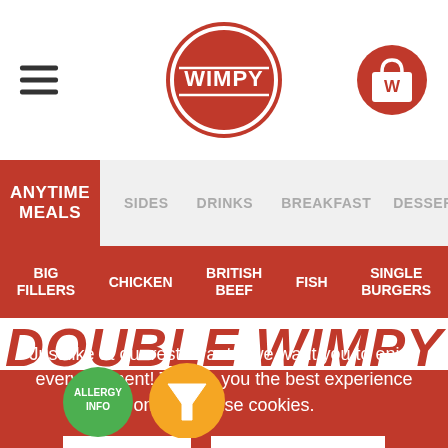[Figure (logo): Wimpy restaurant logo — red circle with white WIMPY text, hamburger menu icon on left, red bag icon with W on right]
ANYTIME MEALS | SIDES | DRINKS | BREAKFAST | DESSERTS
BIG FILLERS | CHICKEN | BRITISH BEEF | FISH | SINGLE BURGERS
DOUBLE WIMPY CHEESE BURGER
Served in a white bun with 2 beef patties, 2 slices of cheese, tomato, lettuce, onion &
Just like at our restaurants, we want you to enjoy every moment! To give you the best experience online we use cookies.
I AGREE
LEARN MORE